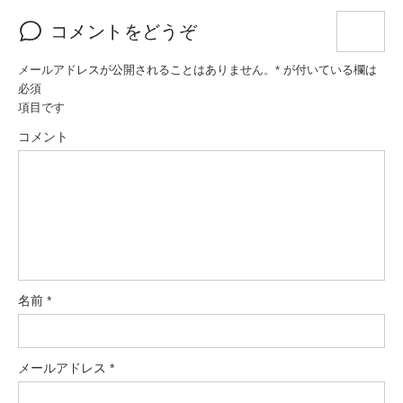コメントをどうぞ
メールアドレスが公開されることはありません。* が付いている欄は必須項目です
コメント
名前 *
メールアドレス *
ウェブサイト